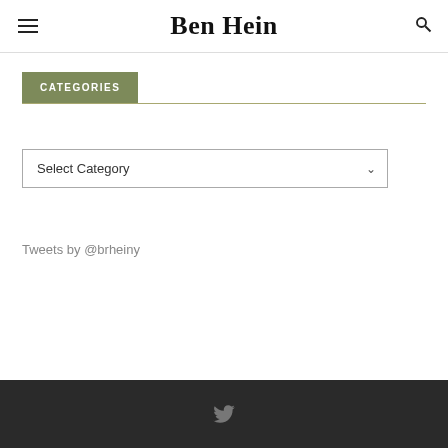Ben Hein
CATEGORIES
Select Category
Tweets by @brheiny
Twitter icon